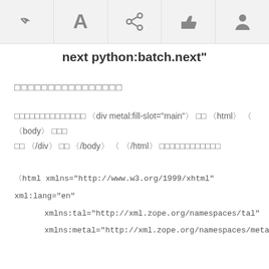[Figure (other): Toolbar with back arrow, letter A, share icon, thumbs up, and user profile icons]
next python:batch.next"
□□□□□□□□□□□□□□□□
□□□□□□□□□□□□□□ 〈div metal:fill-slot="main"〉 □□ 〈html〉 〈 〈body〉 □□□ □□ 〈/div〉 □□ 〈/body〉 〈 〈/html〉 □□□□□□□□□□□□
〈html xmlns="http://www.w3.org/1999/xhtml" xml:lang="en"
xmlns:tal="http://xml.zope.org/namespaces/tal"
xmlns:metal="http://xml.zope.org/namespaces/metal"